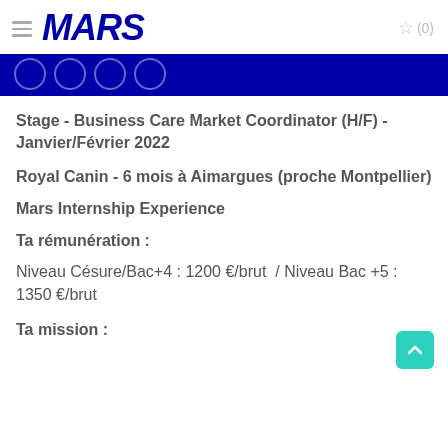MARS ☆ (0)
Stage - Business Care Market Coordinator (H/F) - Janvier/Février 2022
Royal Canin - 6 mois à Aimargues (proche Montpellier)
Mars Internship Experience
Ta rémunération :
Niveau Césure/Bac+4 : 1200 €/brut  / Niveau Bac +5 : 1350 €/brut
Ta mission :